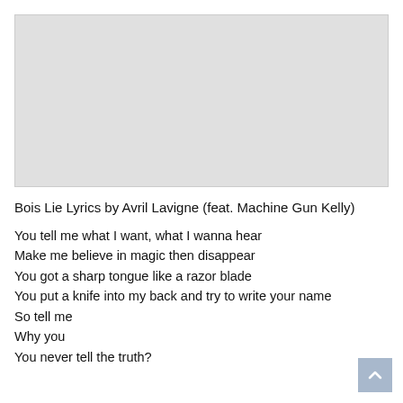[Figure (other): Gray placeholder image area at top of page]
Bois Lie Lyrics by Avril Lavigne (feat. Machine Gun Kelly)
You tell me what I want, what I wanna hear
Make me believe in magic then disappear
You got a sharp tongue like a razor blade
You put a knife into my back and try to write your name
So tell me
Why you
You never tell the truth?